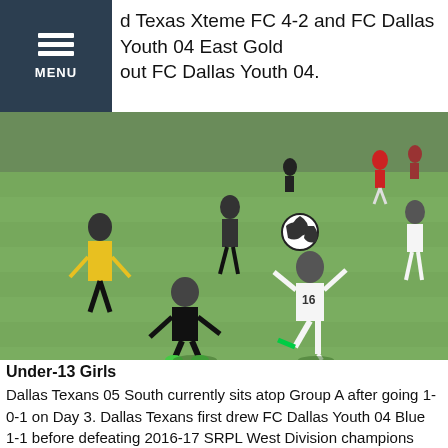d Texas Xteme FC 4-2 and FC Dallas Youth 04 East Gold out FC Dallas Youth 04.
[Figure (photo): Youth soccer match action photo: player #16 in white uniform kicking the ball while a player in black defends; referee in yellow visible in background; played on a grass field]
Under-13 Girls
Dallas Texans 05 South currently sits atop Group A after going 1-0-1 on Day 3. Dallas Texans first drew FC Dallas Youth 04 Blue 1-1 before defeating 2016-17 SRPL West Division champions Dallas Texans 04 South. Dallas Texans 04 will play FC Dallas on Sunday. Solar Chelsea has a narrow edge in Group B after defeating FC Dallas North 04. Dallas Texans 04 before following Dallas Texans FC